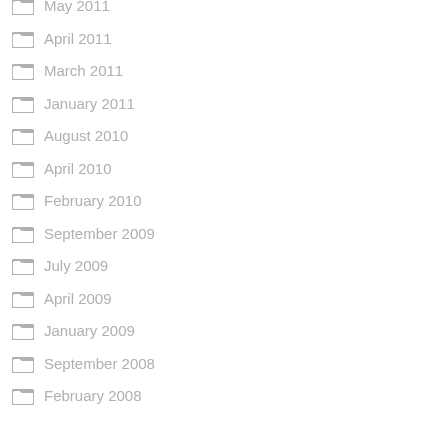May 2011
April 2011
March 2011
January 2011
August 2010
April 2010
February 2010
September 2009
July 2009
April 2009
January 2009
September 2008
February 2008